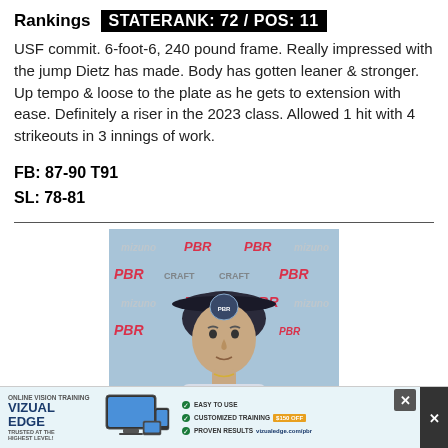Rankings  STATE RANK: 72 / POS: 11
USF commit. 6-foot-6, 240 pound frame. Really impressed with the jump Dietz has made. Body has gotten leaner & stronger. Up tempo & loose to the plate as he gets to extension with ease. Definitely a riser in the 2023 class. Allowed 1 hit with 4 strikeouts in 3 innings of work.
FB: 87-90 T91
SL: 78-81
[Figure (photo): Headshot photo of a baseball player wearing a dark PBR Florida cap, in front of a PBR/Mizuno branded backdrop]
[Figure (infographic): Advertisement banner for Vizual Edge online vision training, showing online/app training devices and promotional offer]